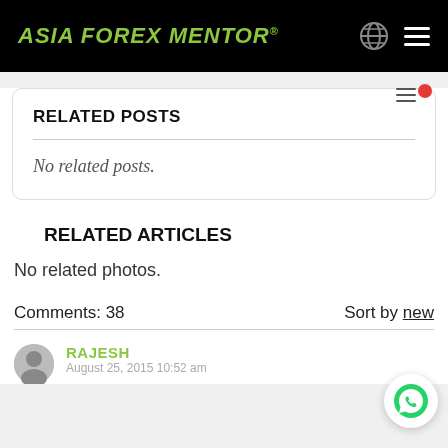ASIA FOREX MENTOR®
RELATED POSTS
No related posts.
RELATED ARTICLES
No related photos.
Comments: 38    Sort by new
RAJESH
August 25, 2015 10:52 am